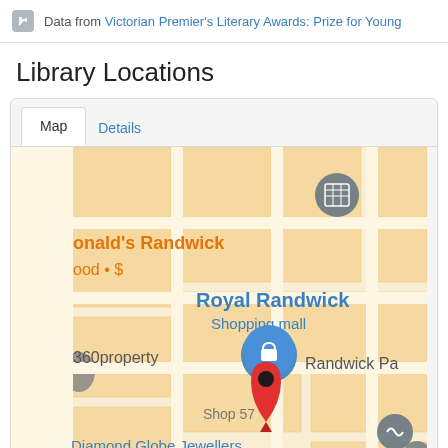Data from Victorian Premier's Literary Awards: Prize for Young
Library Locations
[Figure (map): Google Maps view showing Royal Randwick Shopping mall area with a red location pin marker, McDonald's Randwick label in orange, 360property label, Shop 57 label, Randwick Pa(rk) label, and Diamond Globe Jewellers label at the bottom. A blue location marker and a grid icon are also visible.]